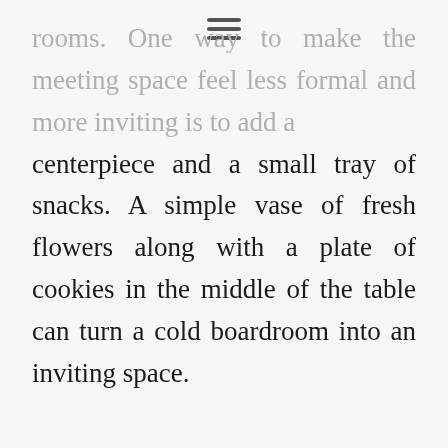rooms.  One way to make the meeting space feel less  formal  and  more  inviting  is  to  add  a centerpiece and a small tray of snacks.  A simple vase  of  fresh  flowers  along  with  a  plate  of cookies  in  the  middle  of  the  table  can  turn  a cold boardroom into an inviting space.
Have A Familiar Person Collect The Parent From The Waiting Area.
When  possible,  have  a  familiar  face  walk  the parents  back  to  the  meeting.   Engage  in  casual conversation  on  the  way  to  the  meeting  room.